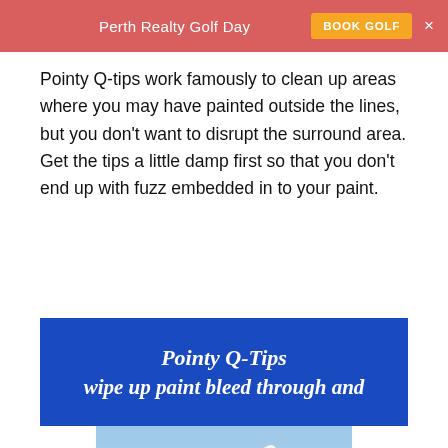Perth Realty Golf Day  BOOK GOLF  ×
Pointy Q-tips work famously to clean up areas where you may have painted outside the lines, but you don't want to disrupt the surround area. Get the tips a little damp first so that you don't end up with fuzz embedded in to your paint.
[Figure (photo): Blue banner with white italic text reading 'Pointy Q-Tips wipe up paint bleed through and' followed by a product photo of Q-tips Precision Tips cotton swabs with a long q-tip shown diagonally against a blue gradient background]
Pointy Q-Tips wipe up paint bleed through and